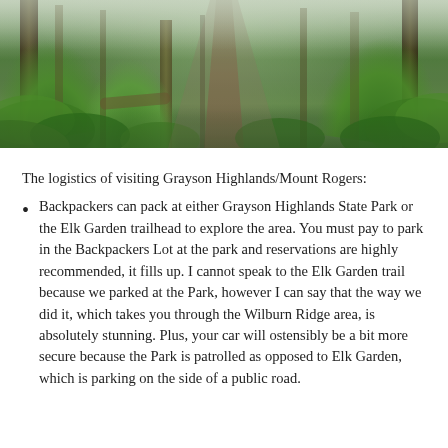[Figure (photo): A misty forest trail winding through lush green ferns and tall trees. The path is narrow and lined with abundant fern undergrowth on both sides, with tall trees and fog visible in the background.]
The logistics of visiting Grayson Highlands/Mount Rogers:
Backpackers can pack at either Grayson Highlands State Park or the Elk Garden trailhead to explore the area. You must pay to park in the Backpackers Lot at the park and reservations are highly recommended, it fills up. I cannot speak to the Elk Garden trail because we parked at the Park, however I can say that the way we did it, which takes you through the Wilburn Ridge area, is absolutely stunning. Plus, your car will ostensibly be a bit more secure because the Park is patrolled as opposed to Elk Garden, which is parking on the side of a public road.